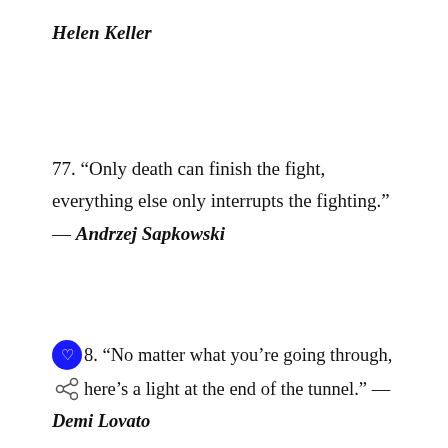Helen Keller
77. “Only death can finish the fight, everything else only interrupts the fighting.” — Andrzej Sapkowski
78. “No matter what you’re going through, there’s a light at the end of the tunnel.” — Demi Lovato